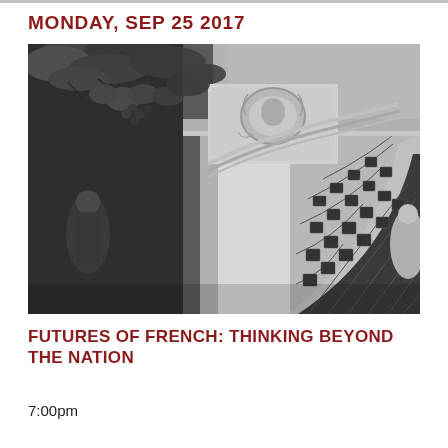MONDAY, SEP 25 2017
[Figure (photo): Black and white close-up photograph of an ornate stone archway, likely Washington Square Arch in New York City, with decorative carvings, a relief medallion, and tree leaves visible in the upper left corner.]
FUTURES OF FRENCH: THINKING BEYOND THE NATION
7:00pm